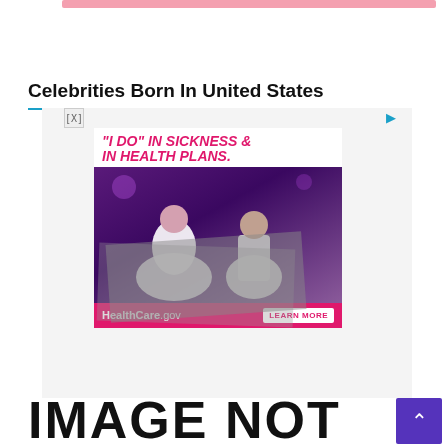[Figure (other): Pink horizontal bar at top of page]
Celebrities Born In United States
[Figure (screenshot): Advertisement for HealthCare.gov showing a wedding couple with text '"I DO" IN SICKNESS & IN HEALTH PLANS.' and a LEARN MORE button]
IMAGE NOT
[Figure (other): Purple scroll-to-top button with upward chevron]